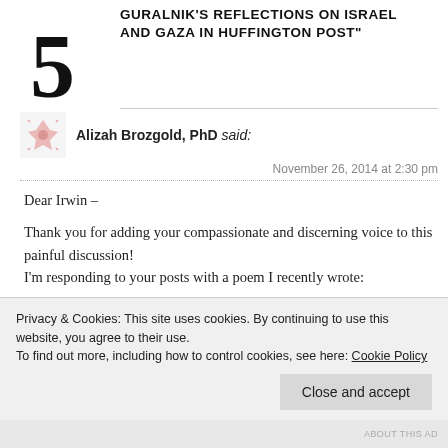GURALNIK'S REFLECTIONS ON ISRAEL AND GAZA IN HUFFINGTON POST"
5
Alizah Brozgold, PhD said:
November 26, 2014 at 2:30 pm
Dear Irwin –

Thank you for adding your compassionate and discerning voice to this painful discussion!
I'm responding to your posts with a poem I recently wrote:

In Memory of a Dying Hope for Peace – 11/19/14

The New Year began with a honey cake,
Privacy & Cookies: This site uses cookies. By continuing to use this website, you agree to their use.
To find out more, including how to control cookies, see here: Cookie Policy

Close and accept